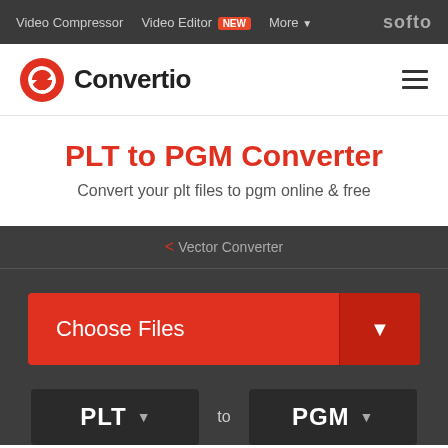Video Compressor  Video Editor NEW  More  softo
[Figure (logo): Convertio logo with red circular arrow icon and bold black text 'Convertio']
PLT to PGM Converter
Convert your plt files to pgm online & free
< Vector Converter
Choose Files
PLT  to  PGM